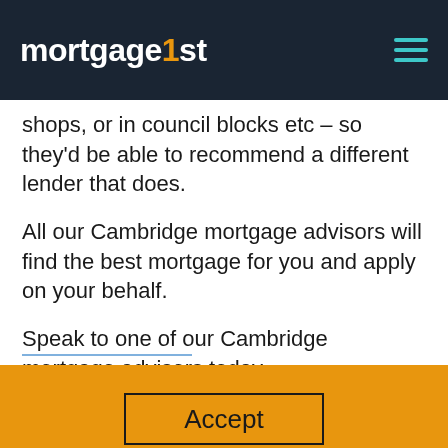mortgage1st
shops, or in council blocks etc – so they'd be able to recommend a different lender that does.
All our Cambridge mortgage advisors will find the best mortgage for you and apply on your behalf.
Speak to one of our Cambridge mortgage advisors today
This website uses cookies to ensure you get the best experience on the website. Click here to view the policy.
Accept